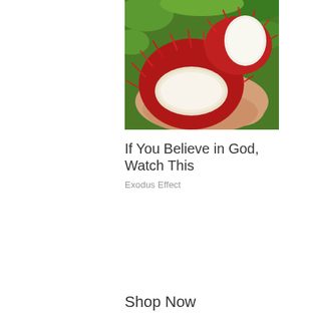[Figure (photo): A hand holding several rambutan fruits, some whole with red spiky exterior, one cut open showing white translucent flesh interior, with green foliage in background]
If You Believe in God, Watch This
Exodus Effect
Shop Now